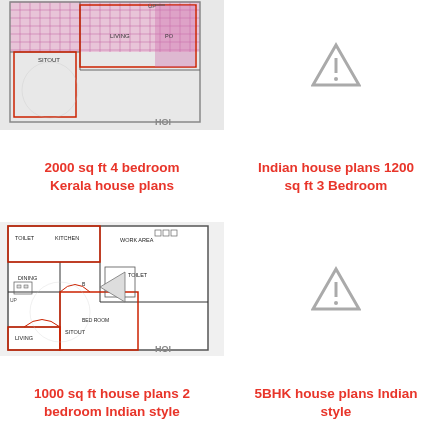[Figure (engineering-diagram): Floor plan of a 2000 sq ft 4 bedroom Kerala house showing SITOUT, LIVING, PORCH areas with pink/magenta hatched rooms, architectural drawing style]
[Figure (other): Warning/placeholder triangle icon for Indian house plans 1200 sq ft 3 Bedroom image]
2000 sq ft 4 bedroom Kerala house plans
Indian house plans 1200 sq ft 3 Bedroom
[Figure (engineering-diagram): Floor plan of a 1000 sq ft house showing TOILET, KITCHEN, DINING, WORK AREA, BED ROOM, SITOUT, LIVING areas with red outline rooms, architectural drawing]
[Figure (other): Warning/placeholder triangle icon for 5BHK house plans Indian style image]
1000 sq ft house plans 2 bedroom Indian style
5BHK house plans Indian style